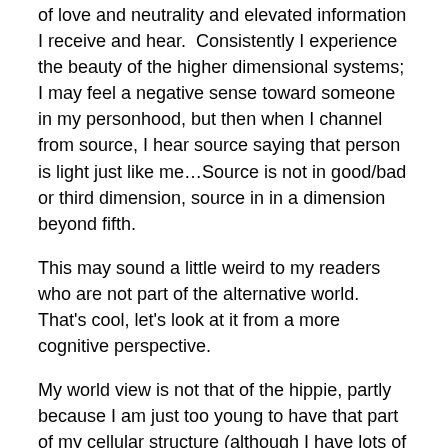of love and neutrality and elevated information I receive and hear.  Consistently I experience the beauty of the higher dimensional systems; I may feel a negative sense toward someone in my personhood, but then when I channel from source, I hear source saying that person is light just like me…Source is not in good/bad or third dimension, source in in a dimension beyond fifth.
This may sound a little weird to my readers who are not part of the alternative world.  That's cool, let's look at it from a more cognitive perspective.
My world view is not that of the hippie, partly because I am just too young to have that part of my cellular structure (although I have lots of peers that have gripped that belief system), partly because I am driven toward congruence.  Which is to say if I am challenging another to be loving